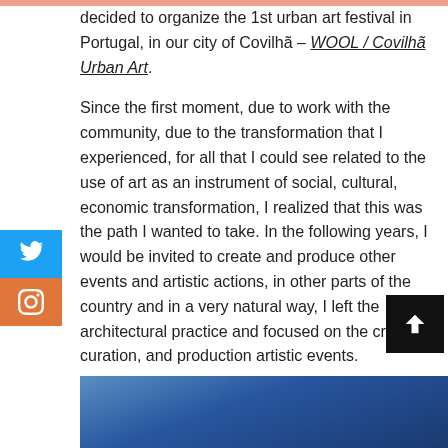decided to organize the 1st urban art festival in Portugal, in our city of Covilhã – WOOL / Covilhã Urban Art.
Since the first moment, due to work with the community, due to the transformation that I experienced, for all that I could see related to the use of art as an instrument of social, cultural, economic transformation, I realized that this was the path I wanted to take. In the following years, I would be invited to create and produce other events and artistic actions, in other parts of the country and in a very natural way, I left the architectural practice and focused on the creation, curation, and production artistic events.
[Figure (photo): Partial blue gradient image at the bottom of the page, likely an outdoor or sky photograph]